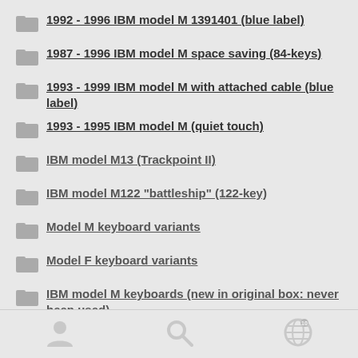1992 - 1996 IBM model M 1391401 (blue label)
1987 - 1996 IBM model M space saving (84-keys)
1993 - 1999 IBM model M with attached cable (blue label)
1993 - 1995 IBM model M (quiet touch)
IBM model M13 (Trackpoint II)
IBM model M122 "battleship" (122-key)
Model M keyboard variants
Model F keyboard variants
IBM model M keyboards (new in original box: never been used)
Model M small parts (springs, screws, cases)
original IBM model M…
[Figure (other): Mobile app bottom navigation bar with user/account icon, search icon, and a globe/network icon]